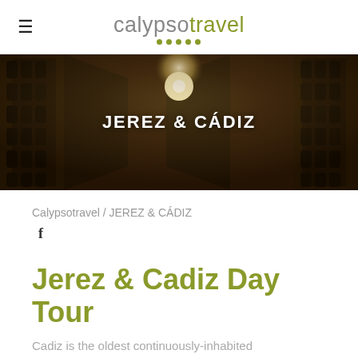calypsotravel
[Figure (photo): Dark wine cellar with rows of wine bottles stacked on wooden racks, with a bright light at the far end creating a dramatic perspective. Text overlay reads JEREZ & CÁDIZ in bold white.]
JEREZ & CÁDIZ
Calypsotravel / JEREZ & CÁDIZ
Jerez & Cadiz Day Tour
Cadiz is the oldest continuously-inhabited